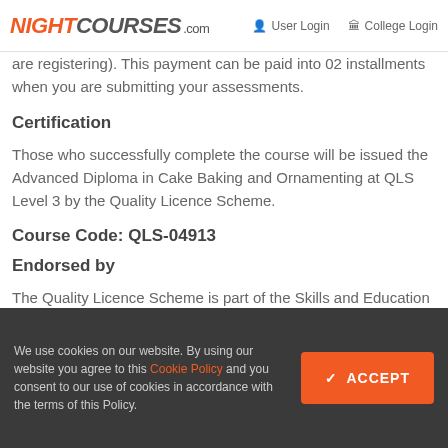NIGHTCOURSES.com  User Login  College Login
are registering). This payment can be paid into 02 installments when you are submitting your assessments.
Certification
Those who successfully complete the course will be issued the Advanced Diploma in Cake Baking and Ornamenting at QLS Level 3 by the Quality Licence Scheme.
Course Code: QLS-04913
Endorsed by
The Quality Licence Scheme is part of the Skills and Education Group, a charitable organisation that
We use cookies on our website. By using our website you agree to this Cookie Policy and you consent to our use of cookies in accordance with the terms of this Policy.